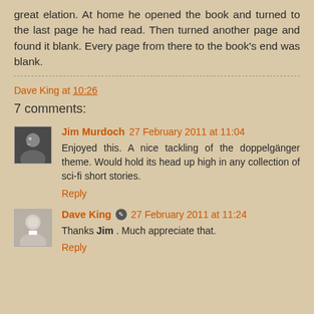great elation. At home he opened the book and turned to the last page he had read. Then turned another page and found it blank. Every page from there to the book's end was blank.
Dave King at 10:26
7 comments:
Jim Murdoch 27 February 2011 at 11:04
Enjoyed this. A nice tackling of the doppelgänger theme. Would hold its head up high in any collection of sci-fi short stories.
Reply
Dave King 27 February 2011 at 11:24
Thanks Jim . Much appreciate that.
Reply